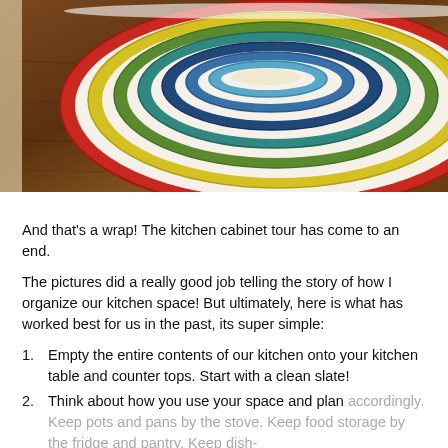[Figure (photo): Nested colorful ceramic bowls stacked inside each other on a wooden surface. Colors include red, yellow, green, teal, blue, and cream.]
And that's a wrap!  The kitchen cabinet tour has come to an end.
The pictures did a really good job telling the story of how I organize our kitchen space!  But ultimately, here is what has worked best for us in the past, its super simple:
Empty the entire contents of our kitchen onto your kitchen table and counter tops.  Start with a clean slate!
Think about how you use your space and plan accordingly.  Keep pots and pans by the stove.  Keep food storage by the fridge and pantry.  Keep dish-